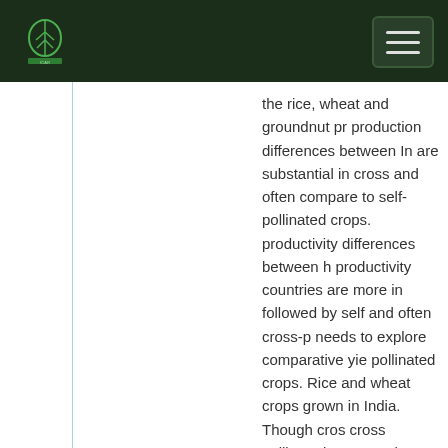Government agricultural report header with logo and navigation
the rice, wheat and groundnut production differences between India are substantial in cross and often compare to self-pollinated crops. productivity differences between high productivity countries are more in followed by self and often cross-p needs to explore comparative yie pollinated crops. Rice and wheat crops grown in India. Though cros cross pollinated crops such as ma and tobacco hold promise for the area expansion under rice and wh these crops to the background. In growth rates reflect that the pivot wheat. This is reflected by the cro during green revolution period. All productivity increased at increasin 2.67% and 2.97% indicates techn in wheat production. Similarly, cot